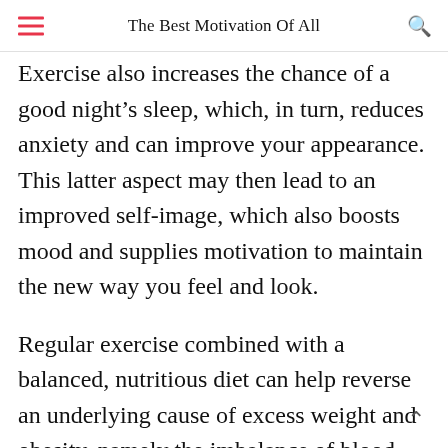The Best Motivation Of All
Exercise also increases the chance of a good night’s sleep, which, in turn, reduces anxiety and can improve your appearance. This latter aspect may then lead to an improved self-image, which also boosts mood and supplies motivation to maintain the new way you feel and look.
Regular exercise combined with a balanced, nutritious diet can help reverse an underlying cause of excess weight and obesity, namely the imbalance of blood...